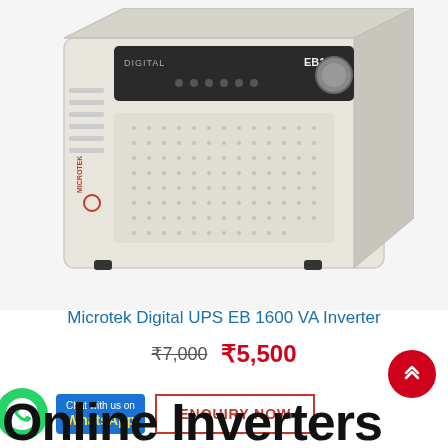[Figure (photo): Microtek Digital UPS EB 1600 VA Inverter product photo on white/light grey background]
Microtek Digital UPS EB 1600 VA Inverter
₹7,000  ₹5,500
[Figure (logo): WhatsApp Chat with us on WhatsApp button with green WhatsApp logo]
ENQUIRY NOW
Online Inverters